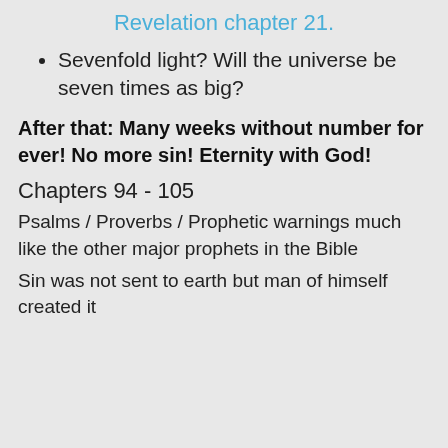Revelation chapter 21.
Sevenfold light? Will the universe be seven times as big?
After that: Many weeks without number for ever! No more sin! Eternity with God!
Chapters 94 - 105
Psalms / Proverbs / Prophetic warnings much like the other major prophets in the Bible
Sin was not sent to earth but man of himself created it